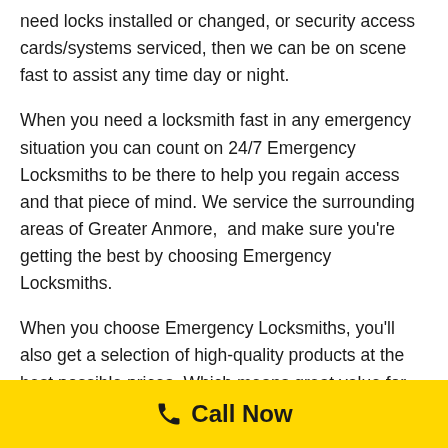need locks installed or changed, or security access cards/systems serviced, then we can be on scene fast to assist any time day or night.
When you need a locksmith fast in any emergency situation you can count on 24/7 Emergency Locksmiths to be there to help you regain access and that piece of mind. We service the surrounding areas of Greater Anmore,  and make sure you're getting the best by choosing Emergency Locksmiths.
When you choose Emergency Locksmiths, you'll also get a selection of high-quality products at the best possible prices. Which means great value for
Call Now